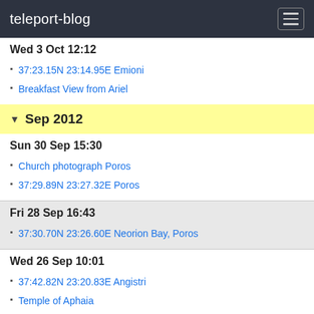teleport-blog
Wed 3 Oct 12:12
37:23.15N 23:14.95E Emioni
Breakfast View from Ariel
Sep 2012
Sun 30 Sep 15:30
Church photograph Poros
37:29.89N 23:27.32E Poros
Fri 28 Sep 16:43
37:30.70N 23:26.60E Neorion Bay, Poros
Wed 26 Sep 10:01
37:42.82N 23:20.83E Angistri
Temple of Aphaia
37:44.48N 23:25.65E Aigina
Epidhavros – Sunken City
37:38.27N 23:09.47E Palaia Epidhavros
Tue 18 Sep 14:33
37:29.89N 23:27.32E Poros